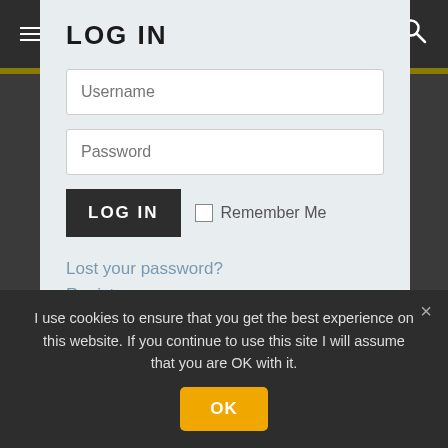≡ MENU
LOG IN
Username
Password
LOG IN
Remember Me
Lost your password?
Register
I use cookies to ensure that you get the best experience on this website. If you continue to use this site I will assume that you are OK with it.
OK